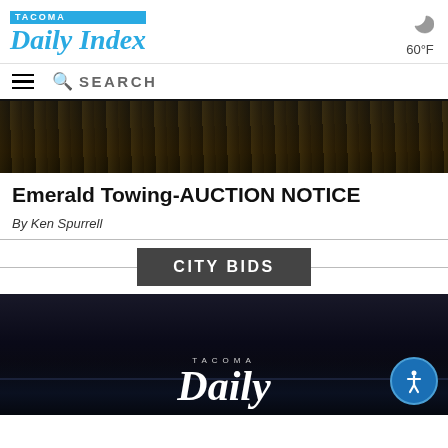TACOMA Daily Index 60°F
SEARCH
[Figure (photo): Dark crowd/audience photo at top of page]
Emerald Towing-AUCTION NOTICE
By Ken Spurrell
CITY BIDS
[Figure (photo): Dark nighttime cityscape with Tacoma Daily Index logo overlay at bottom]